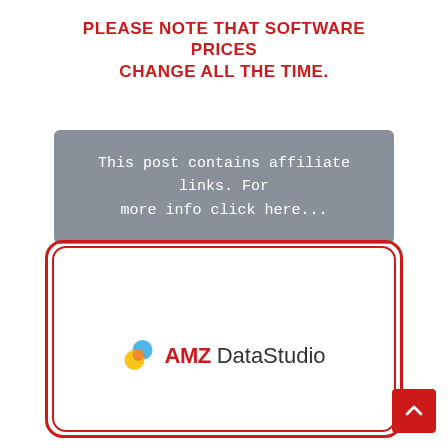PLEASE NOTE THAT SOFTWARE PRICES CHANGE ALL THE TIME.
This post contains affiliate links. For more info click here...
[Figure (logo): AMZ DataStudio logo inside a red double-rounded rectangle frame]